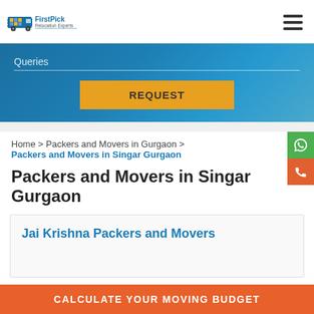[Figure (logo): FirstPick Relocation Experts logo with truck icon]
[Figure (other): Hamburger menu icon (three horizontal lines)]
Queries
[Figure (other): REQUEST button in yellow/gold]
Home > Packers and Movers in Gurgaon >
Packers and Movers in Singar Gurgaon
Packers and Movers in Singar Gurgaon
Jai Krishna Packers and Movers
CALCULATE YOUR MOVING BUDGET